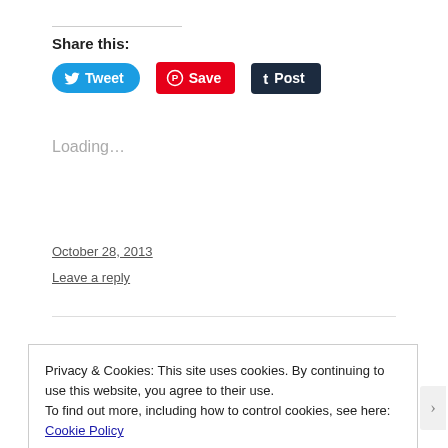Share this:
[Figure (other): Share buttons: Tweet (Twitter), Save (Pinterest), Post (Tumblr)]
Loading...
October 28, 2013
Leave a reply
Privacy & Cookies: This site uses cookies. By continuing to use this website, you agree to their use.
To find out more, including how to control cookies, see here: Cookie Policy